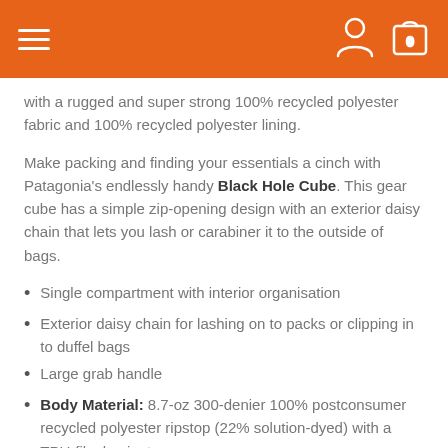Navigation header with hamburger menu, user icon, and cart icon
with a rugged and super strong 100% recycled polyester fabric and 100% recycled polyester lining.
Make packing and finding your essentials a cinch with Patagonia's endlessly handy Black Hole Cube. This gear cube has a simple zip-opening design with an exterior daisy chain that lets you lash or carabiner it to the outside of bags.
Single compartment with interior organisation
Exterior daisy chain for lashing on to packs or clipping in to duffel bags
Large grab handle
Body Material: 8.7-oz 300-denier 100% postconsumer recycled polyester ripstop (22% solution-dyed) with a TPU-film laminate.